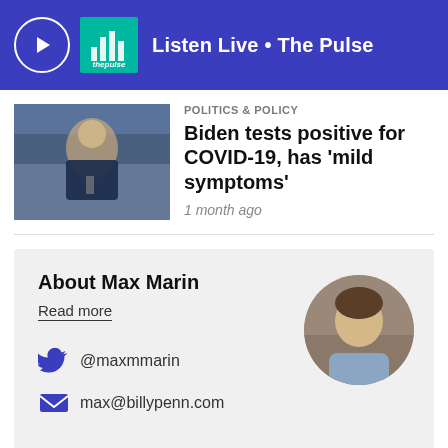Listen Live • The Pulse
POLITICS & POLICY
Biden tests positive for COVID-19, has 'mild symptoms'
1 month ago
About Max Marin
Read more
@maxmmarin
max@billypenn.com